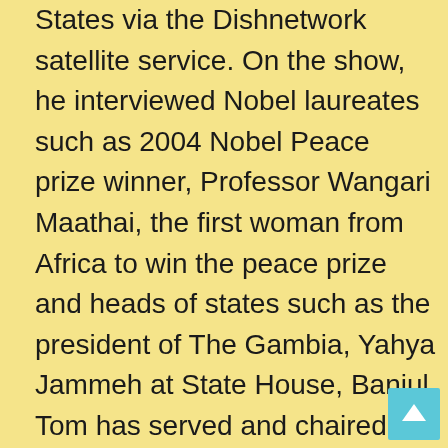States via the Dishnetwork satellite service. On the show, he interviewed Nobel laureates such as 2004 Nobel Peace prize winner, Professor Wangari Maathai, the first woman from Africa to win the peace prize and heads of states such as the president of The Gambia, Yahya Jammeh at State House, Banjul. Tom has served and chaired various boards including Global Minnesota (formerly Minnesota International Center), the sixth largest World Affairs Council in the United States. He has previously served as President of the Board of Directors of Books for Africa, the largest shipper of